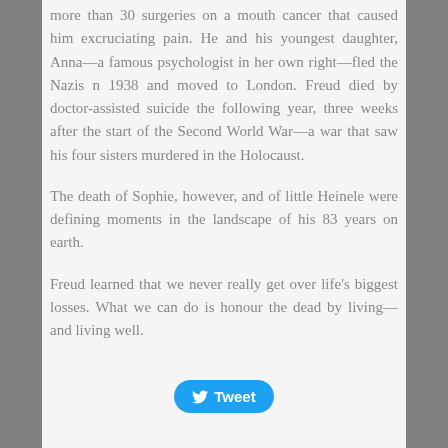more than 30 surgeries on a mouth cancer that caused him excruciating pain. He and his youngest daughter, Anna—a famous psychologist in her own right—fled the Nazis n 1938 and moved to London. Freud died by doctor-assisted suicide the following year, three weeks after the start of the Second World War—a war that saw his four sisters murdered in the Holocaust.
The death of Sophie, however, and of little Heinele were defining moments in the landscape of his 83 years on earth.
Freud learned that we never really get over life's biggest losses. What we can do is honour the dead by living—and living well.
[Figure (other): A Twitter Tweet button with blue background and white bird icon and 'Tweet' text]
bout the author